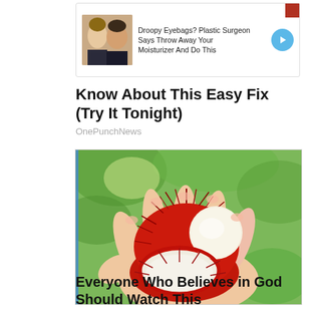[Figure (infographic): Ad banner showing two people's faces with text: Droopy Eyebags? Plastic Surgeon Says Throw Away Your Moisturizer And Do This, with a blue circular arrow button]
Know About This Easy Fix (Try It Tonight)
OnePunchNews
[Figure (photo): A hand holding an open rambutan fruit with red spiky exterior and white round flesh inside, with another half showing the shell, photographed outdoors with green background]
Everyone Who Believes in God Should Watch This